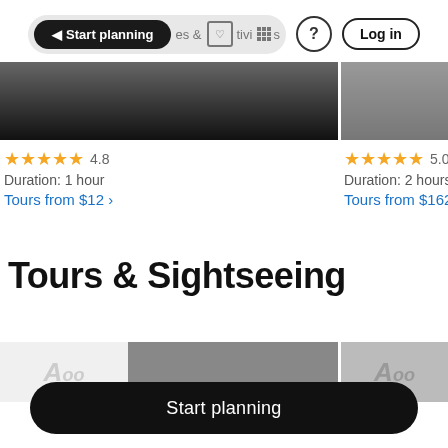Start planning  &  Activities  ?  Log in
[Figure (screenshot): Partial image strip showing a dark photograph on the left and a grey image on the right]
★★★★★ 4.8
Duration: 1 hour
Tours from $12 ›
★★★★★ 5.0
Duration: 2 hours
Tours from $162
Tours & Sightseeing
[Figure (screenshot): Bottom partial image strip showing grey placeholder images with partially visible italic text]
Start planning